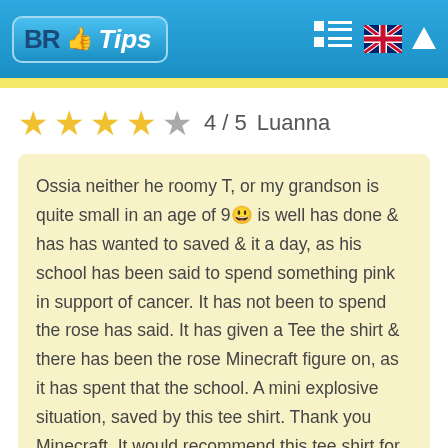BR Tips
4 / 5  Luanna
Ossia neither he roomy T, or my grandson is quite small in an age of 9😃 is well has done & has has wanted to saved & it a day, as his school has been said to spend something pink in support of cancer. It has not been to spend the rose has said. It has given a Tee the shirt & there has been the rose Minecraft figure on, as it has spent that the school. A mini explosive situation, saved by this tee shirt. Thank you Minecraft. It would recommend this tee shirt for any Minecraft crazy